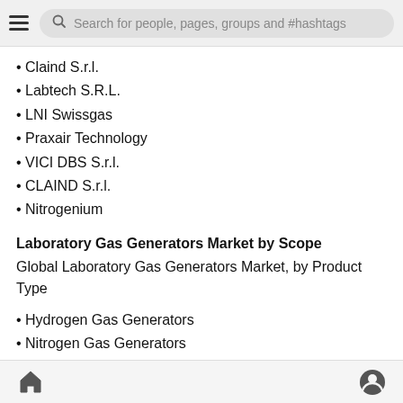Search for people, pages, groups and #hashtags
Claind S.r.l.
Labtech S.R.L.
LNI Swissgas
Praxair Technology
VICI DBS S.r.l.
CLAIND S.r.l.
Nitrogenium
Laboratory Gas Generators Market by Scope
Global Laboratory Gas Generators Market, by Product Type
Hydrogen Gas Generators
Nitrogen Gas Generators
Oxygen Gas Generators
Zero Air Gas Generators